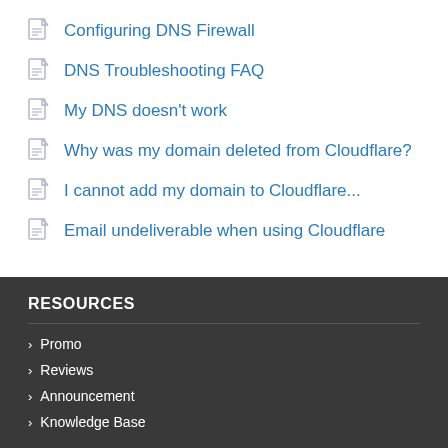Configuring DNS Firewall
DNS Troubleshooting FAQ
My DNS doesn't work
Why was my domain deleted from Cloudflare?
I cannot add my domain to Cloudflare...
Email undeliverable when using Cloudflare
RESOURCES
Promo
Reviews
Announcement
Knowledge Base